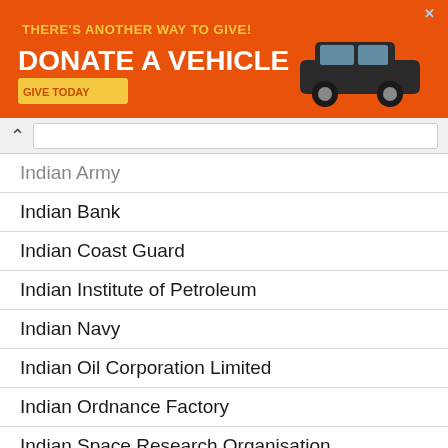[Figure (other): Orange advertisement banner: 'THERE'S ANOTHER WAY TO GIVE! DONATE A VEHICLE — GIVE TODAY' with a car image]
Indian Army
Indian Bank
Indian Coast Guard
Indian Institute of Petroleum
Indian Navy
Indian Oil Corporation Limited
Indian Ordnance Factory
Indian Space Research Organisation
Inland Waterways Authority of India
Inspector
Institute of Banking Personnel Selection
Insurance